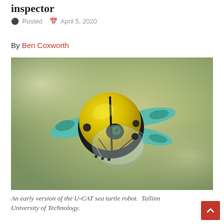inspector
Posted  April 5, 2020
By Ben Coxworth
[Figure (photo): An underwater photo of the U-CAT sea turtle robot — a yellow spherical body with teal/green flipper-like fins extending from each side, floating in murky greenish water.]
An early version of the U-CAT sea turtle robot.  Tallinn University of Technology.